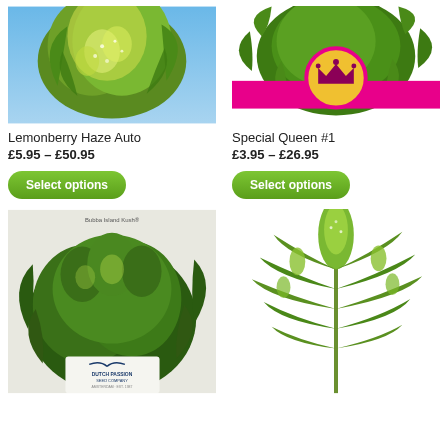[Figure (photo): Close-up photo of Lemonberry Haze Auto cannabis plant with green buds and white trichomes against blue sky background]
Lemonberry Haze Auto
£5.95 – £50.95
Select options
[Figure (photo): Cannabis plant photo with pink/magenta banner overlay featuring a gold crown logo - Special Queen #1 product image]
Special Queen #1
£3.95 – £26.95
Select options
[Figure (photo): Bubba Island Kush cannabis plant with Dutch Passion Seed Company logo, showing bushy dark green plant with dense buds]
[Figure (photo): Tall cannabis plant with long thin leaves and large central cola bud, light green coloring]